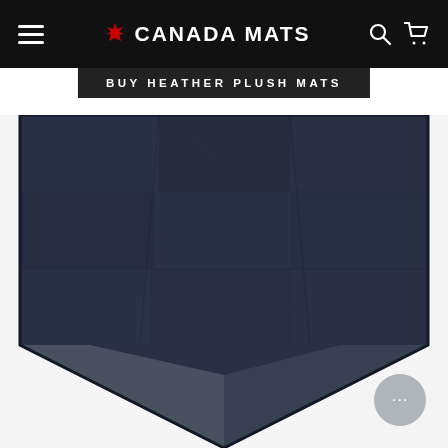Canada Mats — navigation bar with hamburger menu, logo, search and cart icons
BUY HEATHER PLUSH MATS
[Figure (photo): Close-up photo of a dark navy/charcoal heather plush mat showing textured carpet surface with a folded corner revealing the rubber backing. The mat is shown against a white background.]